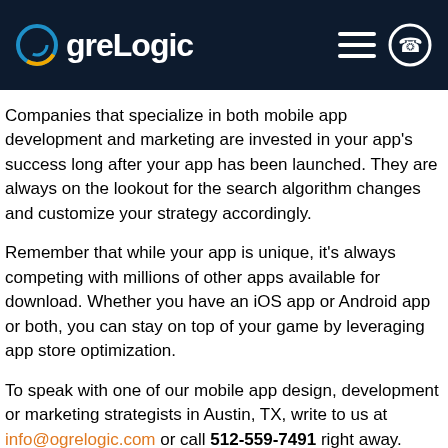OgreLogic
Companies that specialize in both mobile app development and marketing are invested in your app’s success long after your app has been launched. They are always on the lookout for the search algorithm changes and customize your strategy accordingly.
Remember that while your app is unique, it’s always competing with millions of other apps available for download. Whether you have an iOS app or Android app or both, you can stay on top of your game by leveraging app store optimization.
To speak with one of our mobile app design, development or marketing strategists in Austin, TX, write to us at info@ogrelogic.com or call 512-559-7491 right away.